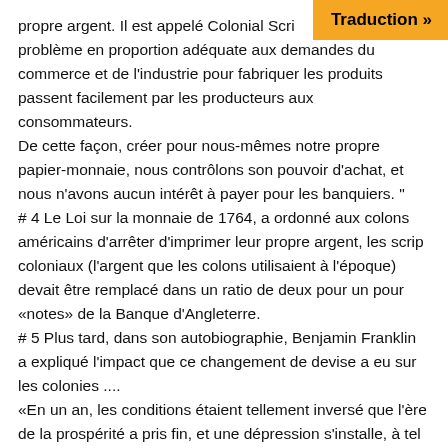propre argent. Il est appelé Colonial Scrip problème en proportion adéquate aux demandes du commerce et de l'industrie pour fabriquer les produits passent facilement par les producteurs aux consommateurs.
De cette façon, créer pour nous-mêmes notre propre papier-monnaie, nous contrôlons son pouvoir d'achat, et nous n'avons aucun intérêt à payer pour les banquiers. "
# 4 Le Loi sur la monnaie de 1764, a ordonné aux colons américains d'arrêter d'imprimer leur propre argent, les scrip coloniaux (l'argent que les colons utilisaient à l'époque) devait être remplacé dans un ratio de deux pour un pour «notes» de la Banque d'Angleterre.
# 5 Plus tard, dans son autobiographie, Benjamin Franklin a expliqué l'impact que ce changement de devise a eu sur les colonies ....
«En un an, les conditions étaient tellement inversé que l'ère de la prospérité a pris fin, et une dépression s'installe, à tel
Traduction »